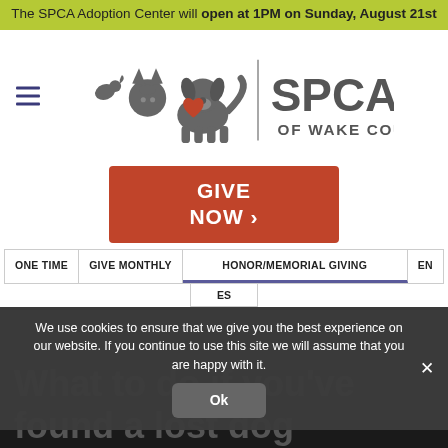The SPCA Adoption Center will open at 1PM on Sunday, August 21st
[Figure (logo): SPCA of Wake County logo with illustrated animals and text]
GIVE NOW ❯
ONE TIME
GIVE MONTHLY
HONOR/MEMORIAL GIVING
EN
ES
We use cookies to ensure that we give you the best experience on our website. If you continue to use this site we will assume that you are happy with it.
Ok
What to do if you've found a lost dog